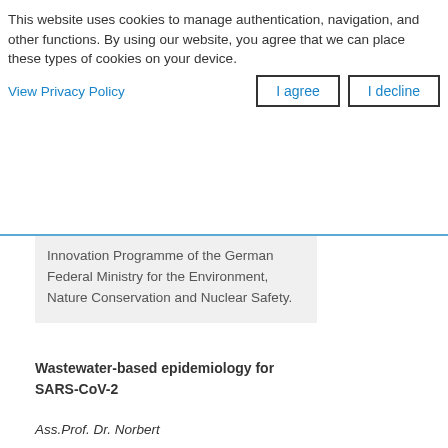This website uses cookies to manage authentication, navigation, and other functions. By using our website, you agree that we can place these types of cookies on your device.
View Privacy Policy
I agree
I decline
Innovation Programme of the German Federal Ministry for the Environment, Nature Conservation and Nuclear Safety.
Wastewater-based epidemiology for SARS-CoV-2
Ass.Prof. Dr. Norbert